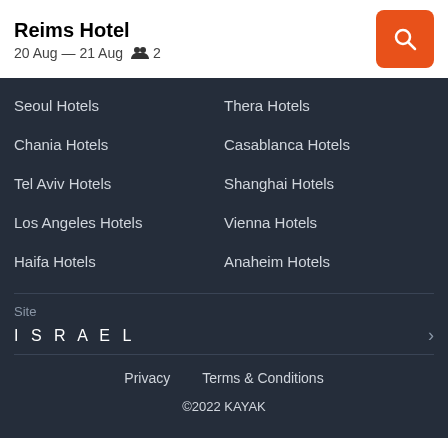Reims Hotel
20 Aug — 21 Aug  👥 2
Seoul Hotels
Thera Hotels
Chania Hotels
Casablanca Hotels
Tel Aviv Hotels
Shanghai Hotels
Los Angeles Hotels
Vienna Hotels
Haifa Hotels
Anaheim Hotels
Site
ISRAEL
Privacy   Terms & Conditions
©2022 KAYAK